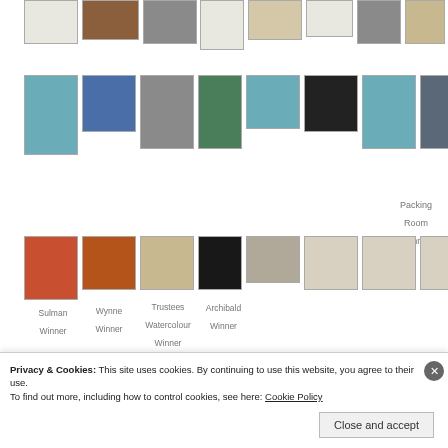[Figure (photo): Top row of small gallery thumbnails showing various artworks]
[Figure (photo): Middle row of gallery thumbnails with Packing Room Winner label]
Packing Room Winner
[Figure (photo): Bottom row of gallery thumbnails with Sulman Winner, Wynne Winner, Trustees Watercolour Winner, Archibald Winner labels]
Sulman Winner
Wynne Winner
Trustees Watercolour Winner
Archibald Winner
Privacy & Cookies: This site uses cookies. By continuing to use this website, you agree to their use.
To find out more, including how to control cookies, see here: Cookie Policy
Close and accept